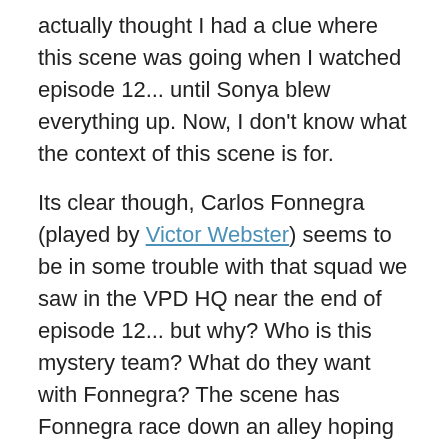actually thought I had a clue where this scene was going when I watched episode 12... until Sonya blew everything up. Now, I don't know what the context of this scene is for.
Its clear though, Carlos Fonnegra (played by Victor Webster) seems to be in some trouble with that squad we saw in the VPD HQ near the end of episode 12... but why? Who is this mystery team? What do they want with Fonnegra? The scene has Fonnegra race down an alley hoping to get away, but is cornered by 3 vehicles coming from each direction. Victor Webster shot many of the  scenes quite well, but his stunt double driver did do it with a bit smoother precision. I'll be curious to see where & how that scene is cut.
Its clear though, (partially visible at bottom)